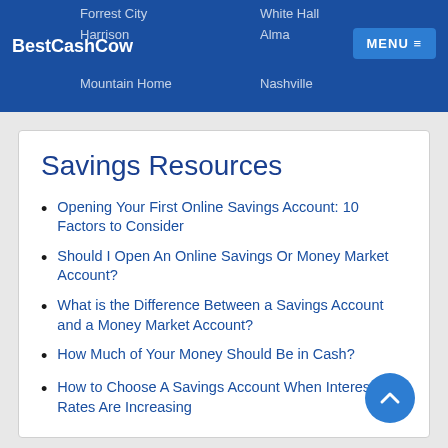BestCashCow | Forrest City, White Hall, Harrison, Alma, Mountain Home, Nashville
Savings Resources
Opening Your First Online Savings Account: 10 Factors to Consider
Should I Open An Online Savings Or Money Market Account?
What is the Difference Between a Savings Account and a Money Market Account?
How Much of Your Money Should Be in Cash?
How to Choose A Savings Account When Interest Rates Are Increasing